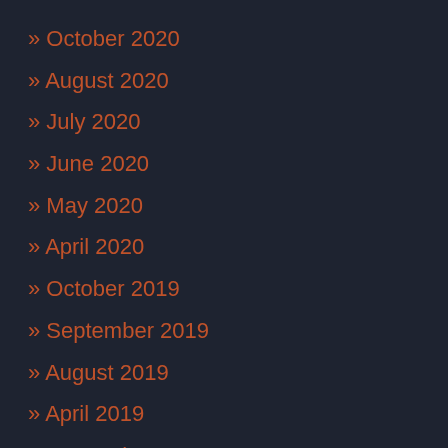» October 2020
» August 2020
» July 2020
» June 2020
» May 2020
» April 2020
» October 2019
» September 2019
» August 2019
» April 2019
» September 2018
» July 2018
» June 2018
» May 2018